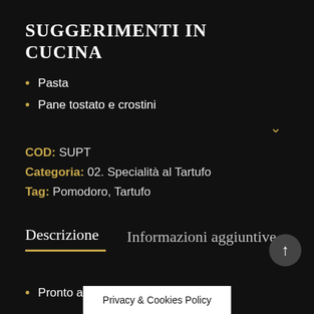SUGGERIMENTI IN CUCINA
Pasta
Pane tostato e crostini
COD: SUPT
Categoria: 02. Specialità al Tartufo
Tag: Pomodoro, Tartufo
Descrizione
Informazioni aggiuntive
Pronto all'uso
Privacy & Cookies Policy